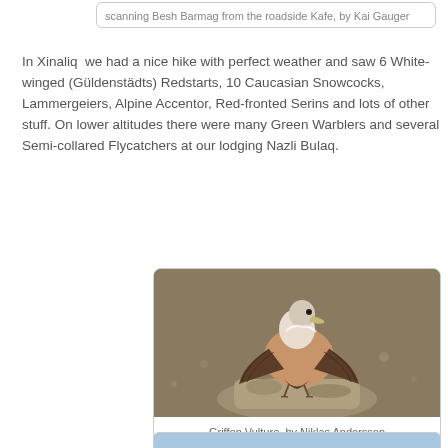scanning Besh Barmag from the roadside Kafe, by Kai Gauger
In Xinaliq we had a nice hike with perfect weather and saw 6 White-winged (Güldenstädts) Redstarts, 10 Caucasian Snowcocks, Lammergeiers, Alpine Accentor, Red-fronted Serins and lots of other stuff. On lower altitudes there were many Green Warblers and several Semi-collared Flycatchers at our lodging Nazli Bulaq.
[Figure (photo): Griffon Vulture perched on a rock, photographed by Niklas Andersson]
Griffon Vulture, by Niklas Andersson
[Figure (photo): Partial view of another photo at bottom of page, appears to show a blue/light colored subject]